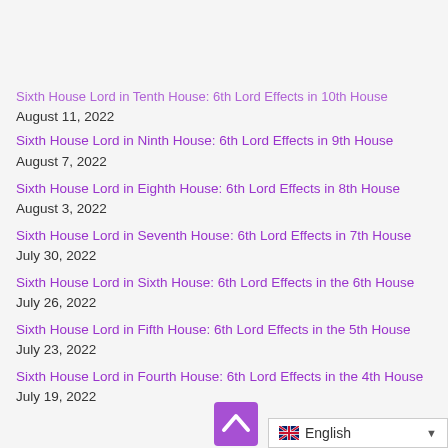Sixth House Lord in Tenth House: 6th Lord Effects in 10th House August 11, 2022
Sixth House Lord in Ninth House: 6th Lord Effects in 9th House August 7, 2022
Sixth House Lord in Eighth House: 6th Lord Effects in 8th House August 3, 2022
Sixth House Lord in Seventh House: 6th Lord Effects in 7th House July 30, 2022
Sixth House Lord in Sixth House: 6th Lord Effects in the 6th House July 26, 2022
Sixth House Lord in Fifth House: 6th Lord Effects in the 5th House July 23, 2022
Sixth House Lord in Fourth House: 6th Lord Effects in the 4th House July 19, 2022